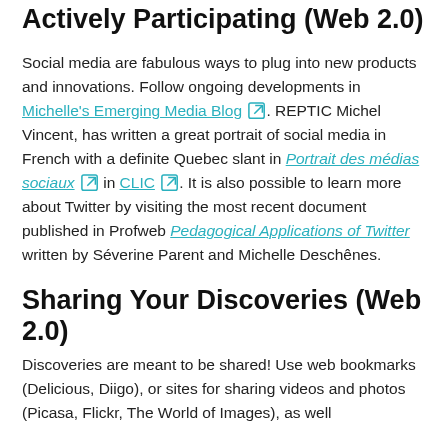Actively Participating (Web 2.0)
Social media are fabulous ways to plug into new products and innovations. Follow ongoing developments in Michelle's Emerging Media Blog. REPTIC Michel Vincent, has written a great portrait of social media in French with a definite Quebec slant in Portrait des médias sociaux in CLIC. It is also possible to learn more about Twitter by visiting the most recent document published in Profweb Pedagogical Applications of Twitter written by Séverine Parent and Michelle Deschênes.
Sharing Your Discoveries (Web 2.0)
Discoveries are meant to be shared! Use web bookmarks (Delicious, Diigo), or sites for sharing videos and photos (Picasa, Flickr, The World of Images), as well